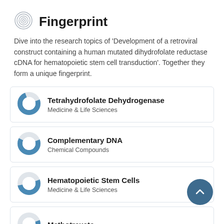Fingerprint
Dive into the research topics of 'Development of a retroviral construct containing a human mutated dihydrofolate reductase cDNA for hematopoietic stem cell transduction'. Together they form a unique fingerprint.
Tetrahydrofolate Dehydrogenase — Medicine & Life Sciences
Complementary DNA — Chemical Compounds
Hematopoietic Stem Cells — Medicine & Life Sciences
Methotrexate